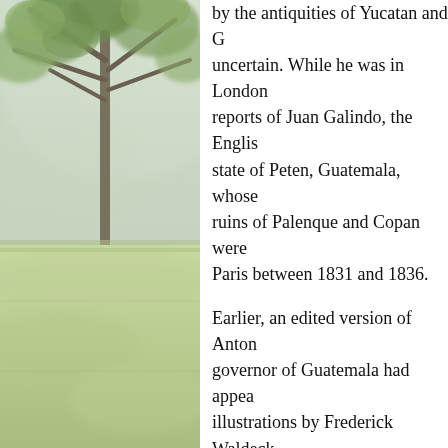[Figure (photo): A nature photograph showing tree branches with green leaves in the upper portion and a misty green grassy field in the lower portion, with soft light and fog creating a dreamlike atmosphere.]
by the antiquities of Yucatan and G... uncertain. While he was in London... reports of Juan Galindo, the Englis... state of Peten, Guatemala, whose... ruins of Palenque and Copan were... Paris between 1831 and 1836.
Earlier, an edited version of Anton... governor of Guatemala had appea... illustrations by Frederick Waldeck... Teatro Critico Americano, one Dr.... Guatemala, purports to prove that... origin.
In 1834, the two volume Antiquites... published in Paris, which also atte... ancient monuments of the New W... but rather the products of the civili...
The European ethnocentricity that... of the Americas as "men just emer... insisted that if there had been an '... the New World, it had been broug... the "Hindoos," the lost tribes of Isr...